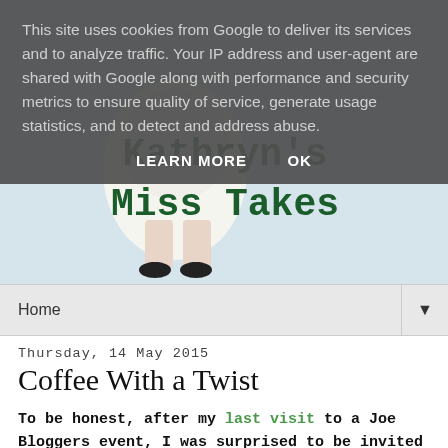This site uses cookies from Google to deliver its services and to analyze traffic. Your IP address and user-agent are shared with Google along with performance and security metrics to ensure quality of service, generate usage statistics, and to detect and address abuse.
LEARN MORE   OK
[Figure (illustration): Blog header with light blue background. On the left, a partial illustration of a woman's body from waist down wearing a white dress and black heels. On the right, the blog title 'Kathryn's Miss Takes' in dark green bold monospace font.]
Kathryn's Miss Takes
Home ▼
Thursday, 14 May 2015
Coffee With a Twist
To be honest, after my last visit to a Joe Bloggers event, I was surprised to be invited